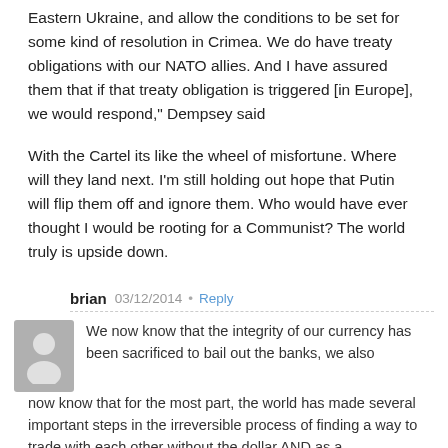Eastern Ukraine, and allow the conditions to be set for some kind of resolution in Crimea. We do have treaty obligations with our NATO allies. And I have assured them that if that treaty obligation is triggered [in Europe], we would respond," Dempsey said
With the Cartel its like the wheel of misfortune. Where will they land next. I’m still holding out hope that Putin will flip them off and ignore them. Who would have ever thought I would be rooting for a Communist? The world truly is upside down.
brian  03/12/2014 • Reply
We now know that the integrity of our currency has been sacrificed to bail out the banks, we also now know that for the most part, the world has made several important steps in the irreversible process of finding a way to trade with each other without the dollar AND as a consequence without much of the ever now dwindling american consumer market.